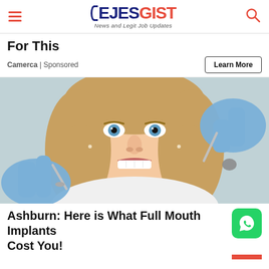EJESGIST — News and Legit Job Updates
For This
Camerca | Sponsored
[Figure (photo): Young woman smiling at a dental clinic, with gloved hands of a dentist holding dental instruments near her mouth]
Ashburn: Here is What Full Mouth Implants Cost You!